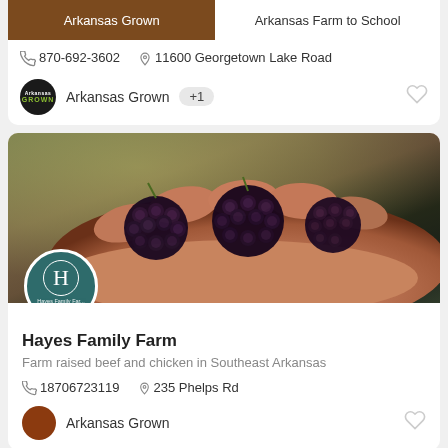Arkansas Grown | Arkansas Farm to School
870-692-3602  11600 Georgetown Lake Road
Arkansas Grown +1
[Figure (photo): Close-up photo of blackberries being held in a person's hand, with a circular Hayes Family Farm logo overlaid at bottom left]
Hayes Family Farm
Farm raised beef and chicken in Southeast Arkansas
18706723119  235 Phelps Rd
Arkansas Grown